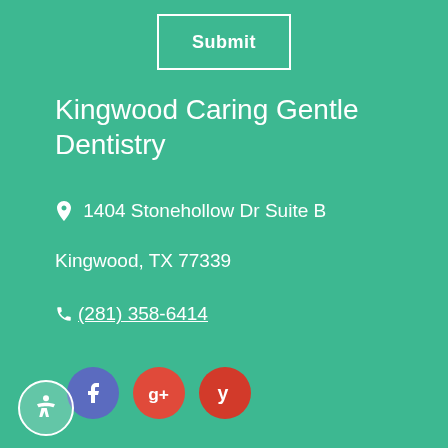[Figure (screenshot): Submit button with white border on teal background]
Kingwood Caring Gentle Dentistry
1404 Stonehollow Dr Suite B
Kingwood, TX 77339
(281) 358-6414
[Figure (other): Social media icons: Facebook (blue circle), Google+ (red circle), Yelp (red circle)]
[Figure (other): Accessibility icon in circular button at bottom left]